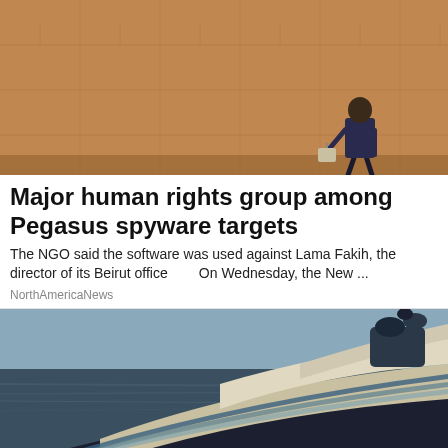[Figure (photo): A person walking along a large sandy/terracotta-colored wall, viewed from behind]
Major human rights group among Pegasus spyware targets
The NGO said the software was used against Lama Fakih, the director of its Beirut office      On Wednesday, the New ...
NorthAmericaNews
[Figure (photo): A large luxury superyacht with sleek futuristic design sailing on open water, aerial/side view]